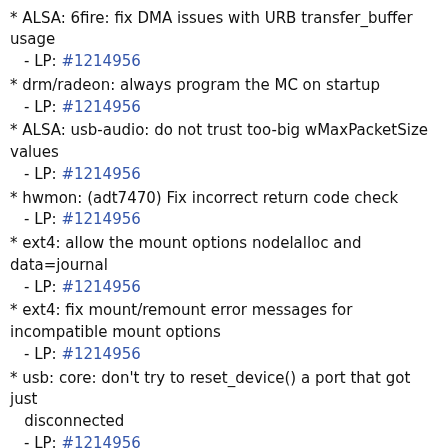dereference in commit.
  - LP: #1214956
* ALSA: 6fire: fix DMA issues with URB transfer_buffer usage
  - LP: #1214956
* drm/radeon: always program the MC on startup
  - LP: #1214956
* ALSA: usb-audio: do not trust too-big wMaxPacketSize values
  - LP: #1214956
* hwmon: (adt7470) Fix incorrect return code check
  - LP: #1214956
* ext4: allow the mount options nodelalloc and data=journal
  - LP: #1214956
* ext4: fix mount/remount error messages for incompatible mount options
  - LP: #1214956
* usb: core: don't try to reset_device() a port that got just
    disconnected
  - LP: #1214956
* debugfs: debugfs_remove_recursive() must not rely on
  list_empty(d_subdirs)
  - LP: #1214956